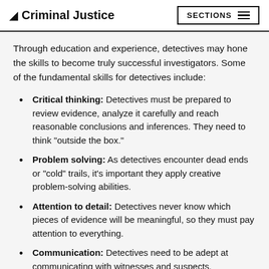Criminal Justice  SECTIONS
Through education and experience, detectives may hone the skills to become truly successful investigators. Some of the fundamental skills for detectives include:
Critical thinking: Detectives must be prepared to review evidence, analyze it carefully and reach reasonable conclusions and inferences. They need to think “outside the box.”
Problem solving: As detectives encounter dead ends or “cold” trails, it’s important they apply creative problem-solving abilities.
Attention to detail: Detectives never know which pieces of evidence will be meaningful, so they must pay attention to everything.
Communication: Detectives need to be adept at communicating with witnesses and suspects.